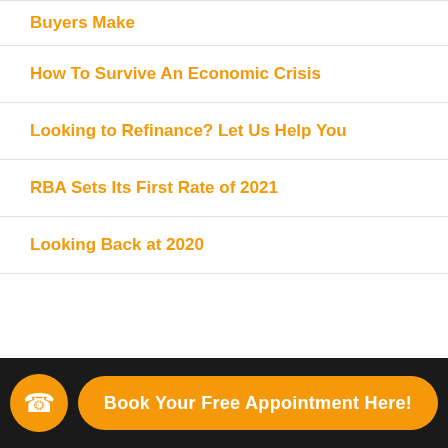Buyers Make
How To Survive An Economic Crisis
Looking to Refinance? Let Us Help You
RBA Sets Its First Rate of 2021
Looking Back at 2020
Book Your Free Appointment Here!